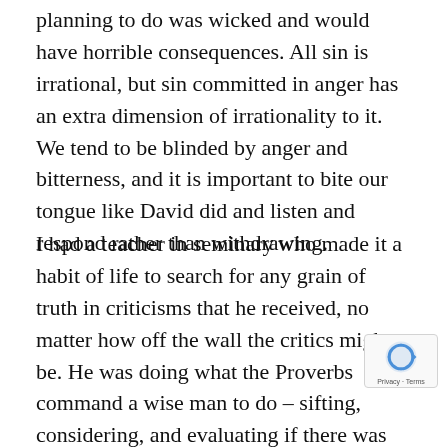planning to do was wicked and would have horrible consequences. All sin is irrational, but sin committed in anger has an extra dimension of irrationality to it. We tend to be blinded by anger and bitterness, and it is important to bite our tongue like David did and listen and respond rather than withdrawing.
I had a teacher in seminary who made it a habit of life to search for any grain of truth in criticisms that he received, no matter how off the wall the critics might be. He was doing what the Proverbs command a wise man to do – sifting, considering, and evaluating if there was any truth to the complaint, and asking God to show him if there was any wicked way in him. And that